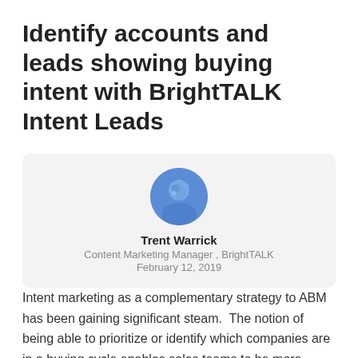Identify accounts and leads showing buying intent with BrightTALK Intent Leads
[Figure (photo): Circular profile photo of Trent Warrick with a blue-tinted appearance, inside a light gray rounded card]
Trent Warrick
Content Marketing Manager , BrightTALK
February 12, 2019
Intent marketing as a complementary strategy to ABM has been gaining significant steam.  The notion of being able to prioritize or identify which companies are in a buying cycle enables sales teams to be more effective